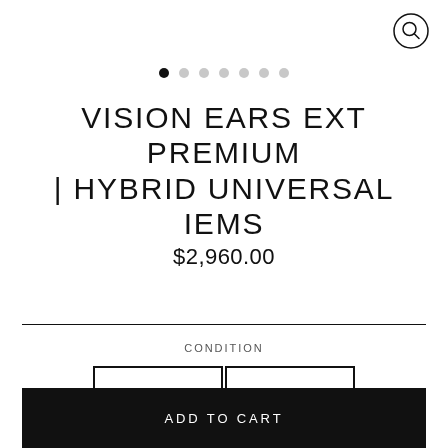[Figure (other): Search (magnifying glass) icon circle in top right corner]
[Figure (other): Carousel navigation dots row: one filled black dot and six light gray dots]
VISION EARS EXT PREMIUM | HYBRID UNIVERSAL IEMS
$2,960.00
CONDITION
New
Open Box
ADD TO CART